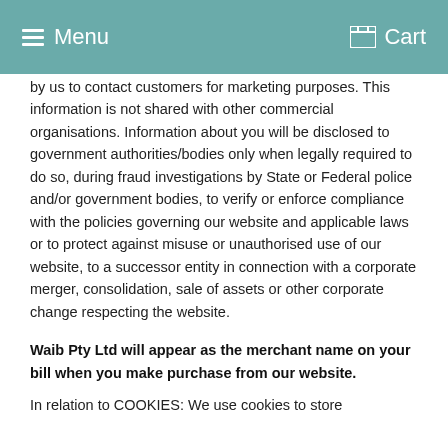Menu  Cart
by us to contact customers for marketing purposes. This information is not shared with other commercial organisations. Information about you will be disclosed to government authorities/bodies only when legally required to do so, during fraud investigations by State or Federal police and/or government bodies, to verify or enforce compliance with the policies governing our website and applicable laws or to protect against misuse or unauthorised use of our website, to a successor entity in connection with a corporate merger, consolidation, sale of assets or other corporate change respecting the website.
Waib Pty Ltd will appear as the merchant name on your bill when you make purchase from our website.
In relation to COOKIES: We use cookies to store